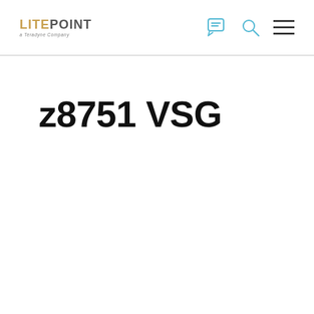LITEPOINT – a Teradyne Company
z8751 VSG